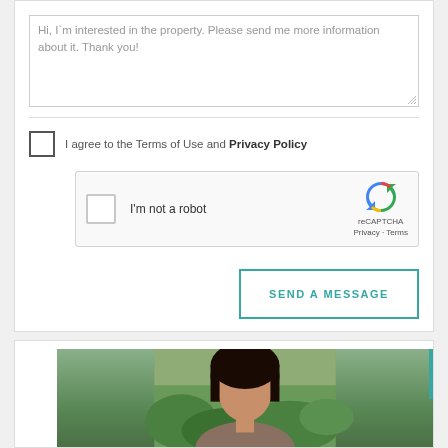Hi, I`m interested in the property. Please send me more information about it. Thank you!
I agree to the Terms of Use and Privacy Policy
[Figure (screenshot): reCAPTCHA widget with checkbox 'I'm not a robot' and reCAPTCHA logo with Privacy and Terms links]
SEND A MESSAGE
[Figure (photo): Photo of a woman with dark hair outdoors with green foliage background]